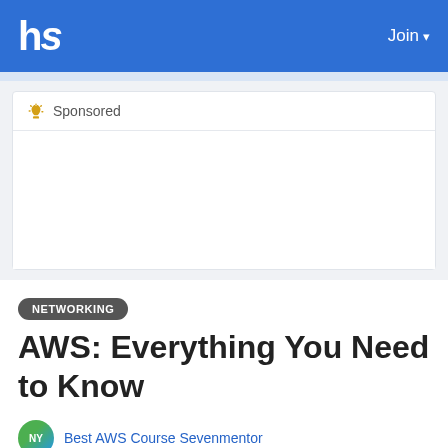hs   Join
📣 Sponsored
NETWORKING
AWS: Everything You Need to Know
Best AWS Course Sevenmentor